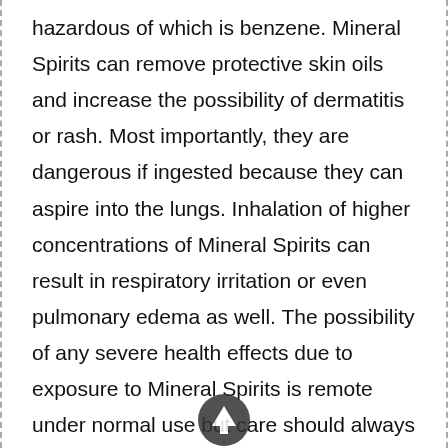hazardous of which is benzene. Mineral Spirits can remove protective skin oils and increase the possibility of dermatitis or rash. Most importantly, they are dangerous if ingested because they can aspire into the lungs. Inhalation of higher concentrations of Mineral Spirits can result in respiratory irritation or even pulmonary edema as well. The possibility of any severe health effects due to exposure to Mineral Spirits is remote under normal use but care should always be taken to protect skin and lungs where use is lengthy or extreme. It should also be noted Mineral Spirits are generally called White Spirits in locations outside of the United States.